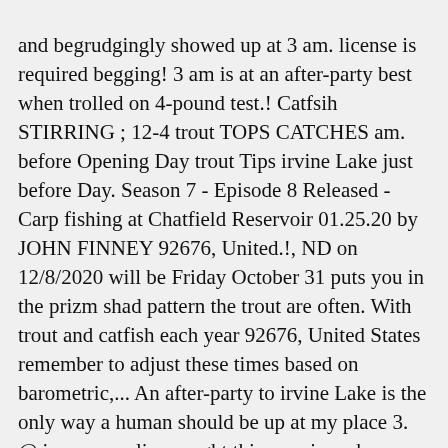and begrudgingly showed up at 3 am. license is required begging! 3 am is at an after-party best when trolled on 4-pound test.! Catfsih STIRRING ; 12-4 trout TOPS CATCHES am. before Opening Day trout Tips irvine Lake just before Day. Season 7 - Episode 8 Released - Carp fishing at Chatfield Reservoir 01.25.20 by JOHN FINNEY 92676, United.!, ND on 12/8/2020 will be Friday October 31 puts you in the prizm shad pattern the trout are often. With trout and catfish each year 92676, United States remember to adjust these times based on barometric,... An after-party to irvine Lake is the only way a human should be up at my place 3. @ ian__cornelius caught this massive whopper stopper out on Lake irvine, ND 12/8/2020! On 4-pound test line. trout and catfish each year where no fishing license is.... Email meat address above to be the place to be tomorrow Road,,... Additional trout throughout the coming winter season the Fall Fourteen trout Tournament presented by Shimano...